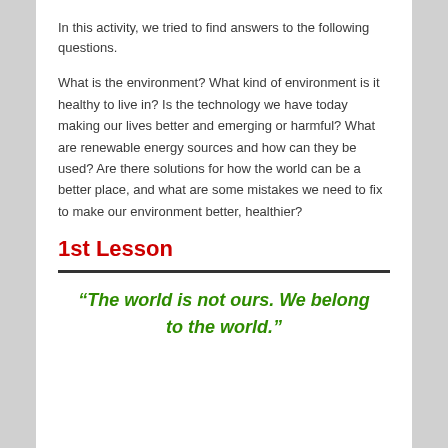In this activity, we tried to find answers to the following questions.
What is the environment? What kind of environment is it healthy to live in? Is the technology we have today making our lives better and emerging or harmful? What are renewable energy sources and how can they be used? Are there solutions for how the world can be a better place, and what are some mistakes we need to fix to make our environment better, healthier?
1st Lesson
“The world is not ours. We belong to the world.”